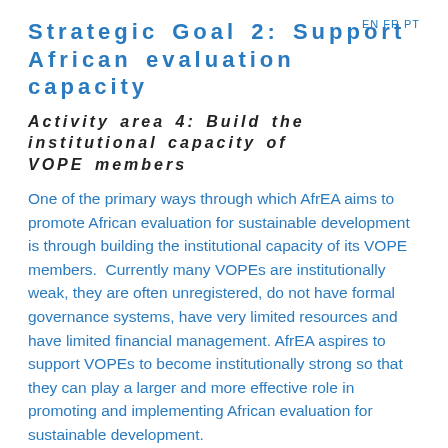EN FR PT
Strategic Goal 2: Support African evaluation capacity
Activity area 4: Build the institutional capacity of VOPE members
One of the primary ways through which AfrEA aims to promote African evaluation for sustainable development is through building the institutional capacity of its VOPE members.  Currently many VOPEs are institutionally weak, they are often unregistered, do not have formal governance systems, have very limited resources and have limited financial management. AfrEA aspires to support VOPEs to become institutionally strong so that they can play a larger and more effective role in promoting and implementing African evaluation for sustainable development.